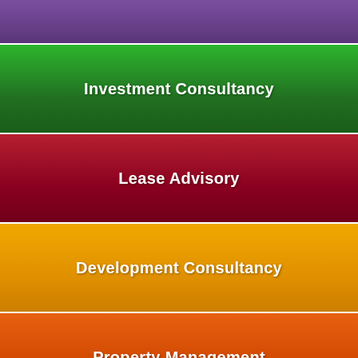Investment Consultancy
Lease Advisory
Development Consultancy
Property Management